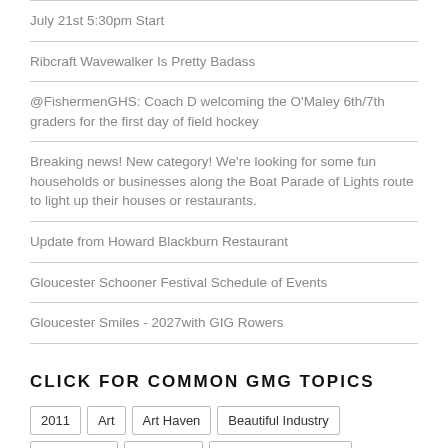July 21st 5:30pm Start
Ribcraft Wavewalker Is Pretty Badass
@FishermenGHS: Coach D welcoming the O'Maley 6th/7th graders for the first day of field hockey
Breaking news! New category! We're looking for some fun households or businesses along the Boat Parade of Lights route to light up their houses or restaurants.
Update from Howard Blackburn Restaurant
Gloucester Schooner Festival Schedule of Events
Gloucester Smiles - 2027with GIG Rowers
CLICK FOR COMMON GMG TOPICS
2011
Art
Art Haven
Beautiful Industry
Block Party
Cape Ann
Cape Ann Animal Aid
Cape Ann Community Cinema